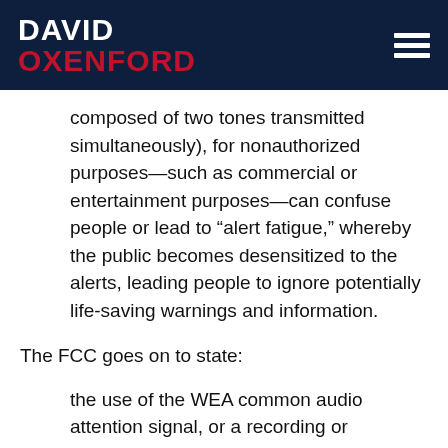DAVID OXENFORD
composed of two tones transmitted simultaneously), for nonauthorized purposes—such as commercial or entertainment purposes—can confuse people or lead to “alert fatigue,” whereby the public becomes desensitized to the alerts, leading people to ignore potentially life-saving warnings and information.
The FCC goes on to state:
the use of the WEA common audio attention signal, or a recording or simulation thereof, in any circumstance other than in an actual National, State or Local Area emergency, authorized test, or except as designed and used